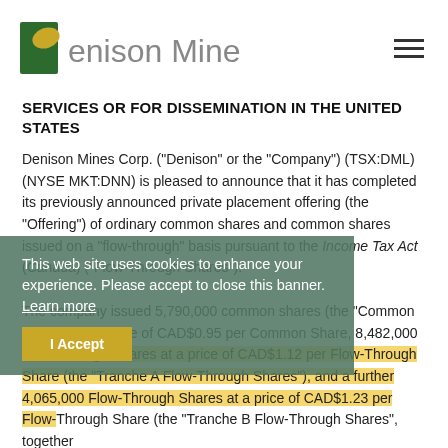Denison Mines
SERVICES OR FOR DISSEMINATION IN THE UNITED STATES
Denison Mines Corp. ("Denison" or the "Company") (TSX:DML) (NYSE MKT:DNN) is pleased to announce that it has completed its previously announced private placement offering (the "Offering") of ordinary common shares and common shares issued on a "flow-through" basis pursuant to the Income Tax Act (Canada) ("Flow-Through Shares"). The company issued 5,790,000 common shares (the "Common Shares") at a price of CAD$0.95 per Common Share, 8,482,000 Flow-Through Shares at a price of CAD$1.12 per Flow-Through Share (the "Tranche A Flow-Through Shares"), and a further 4,065,000 Flow-Through Shares at a price of CAD$1.23 per Flow-Through Share (the "Tranche B Flow-Through Shares", together